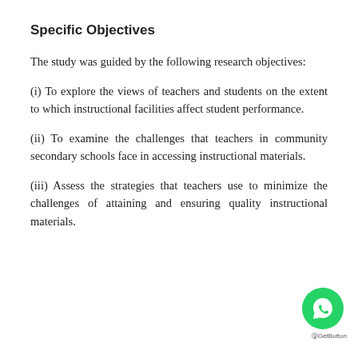Specific Objectives
The study was guided by the following research objectives:
(i) To explore the views of teachers and students on the extent to which instructional facilities affect student performance.
(ii) To examine the challenges that teachers in community secondary schools face in accessing instructional materials.
(iii) Assess the strategies that teachers use to minimize the challenges of attaining and ensuring quality instructional materials.